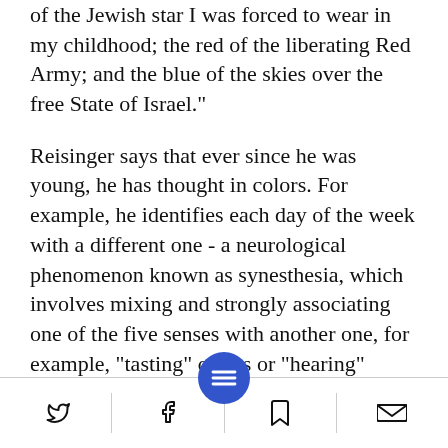of the Jewish star I was forced to wear in my childhood; the red of the liberating Red Army; and the blue of the skies over the free State of Israel."
Reisinger says that ever since he was young, he has thought in colors. For example, he identifies each day of the week with a different one - a neurological phenomenon known as synesthesia, which involves mixing and strongly associating one of the five senses with another one, for example, "tasting" colors or "hearing" flavors.
[Figure (other): Social media sharing footer bar with Twitter, Facebook, bookmark, and email icons, plus a central blue circle button with menu/equals icon]